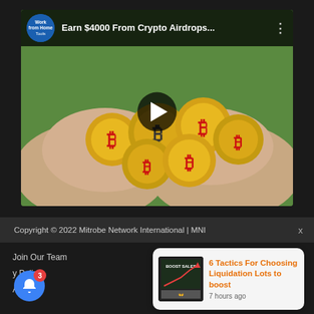[Figure (screenshot): YouTube video thumbnail showing hands holding gold Bitcoin coins, with video title 'Earn $4000 From Crypto Airdrops...' and channel icon for 'Work from Home Tools']
Copyright © 2022 Mitrobe Network International | MNI
Join Our Team
y Policy
A Policy
[Figure (screenshot): Notification popup card showing '6 Tactics For Choosing Liquidation Lots to boost' posted 7 hours ago, with thumbnail of a boost sales graph image]